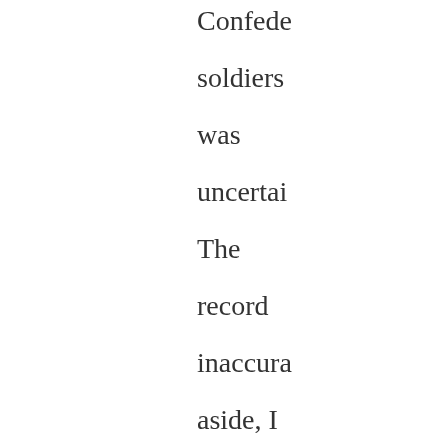Confede soldiers was uncertai The record inaccura aside, I find that it is interesti that the calculati method for the war assumed that 100%